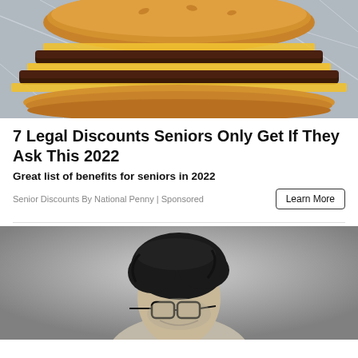[Figure (photo): Close-up photo of a double cheeseburger with yellow cheese slices on a bun, placed on crinkled foil wrap]
7 Legal Discounts Seniors Only Get If They Ask This 2022
Great list of benefits for seniors in 2022
Senior Discounts By National Penny | Sponsored
[Figure (photo): Black and white portrait photo of a person with dark tousled hair and thick-rimmed glasses, looking downward]